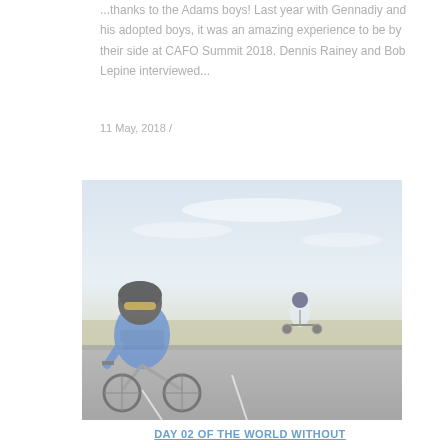...thanks to the Adams boys! Last year with Gennadiy and his adopted boys, it was an amazing experience to be by their side at CAFO Summit 2018. Dennis Rainey and Bob Lepine interviewed...
11 May, 2018 /
[Figure (photo): Two cyclists riding on a road under a partly cloudy sky. The foreground cyclist wears a blue jersey and a black helmet with yellow-tinted glasses. A second cyclist is visible in the background.]
DAY 02 OF THE WORLD WITHOUT